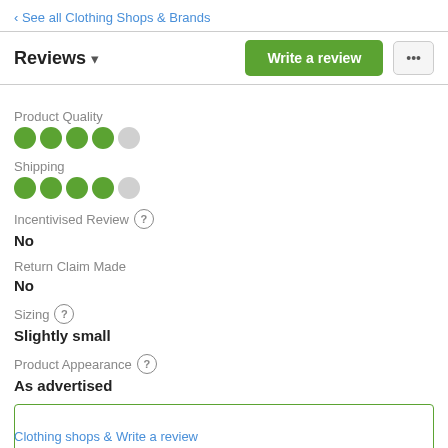‹ See all Clothing Shops & Brands
Reviews ▾
Write a review
Product Quality
[Figure (infographic): 4 out of 5 filled green dots rating for Product Quality]
Shipping
[Figure (infographic): 4 out of 5 filled green dots rating for Shipping]
Incentivised Review ?
No
Return Claim Made
No
Sizing ?
Slightly small
Product Appearance ?
As advertised
Clothing shops & Write a review